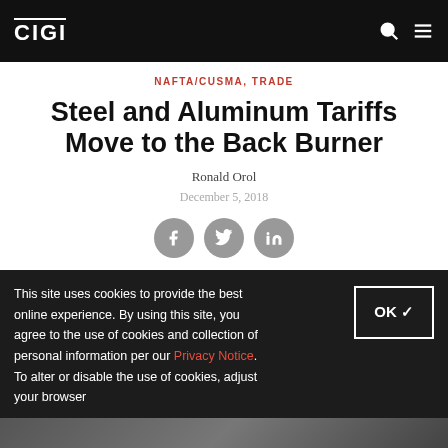CIGI
NAFTA/CUSMA, TRADE
Steel and Aluminum Tariffs Move to the Back Burner
Ronald Orol
December 5, 2018
[Figure (infographic): Social share buttons for Facebook, Twitter, and LinkedIn]
This site uses cookies to provide the best online experience. By using this site, you agree to the use of cookies and collection of personal information per our Privacy Notice. To alter or disable the use of cookies, adjust your browser
[Figure (photo): Partial photo visible at bottom right of page]